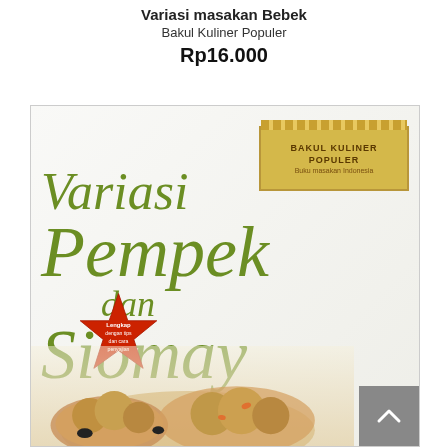Variasi masakan Bebek
Bakul Kuliner Populer
Rp16.000
[Figure (photo): Book cover of 'Variasi Pempek dan Siomay' by Bakul Kuliner Populer, showing the book title in large olive-green italic serif font on a white/cream background, with a golden banner label in the top right corner, a red seal badge at the bottom left, and food photography of pempek and siomay dishes at the bottom. A grey back-to-top button appears in the bottom right corner.]